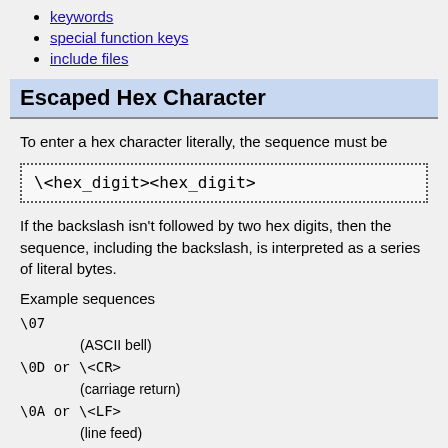keywords
special function keys
include files
Escaped Hex Character
To enter a hex character literally, the sequence must be
If the backslash isn't followed by two hex digits, then the sequence, including the backslash, is interpreted as a series of literal bytes.
Example sequences
\07
    (ASCII bell)
\0D or \<CR>
    (carriage return)
\0A or \<LF>
    (line feed)
\7E or \<DEL>